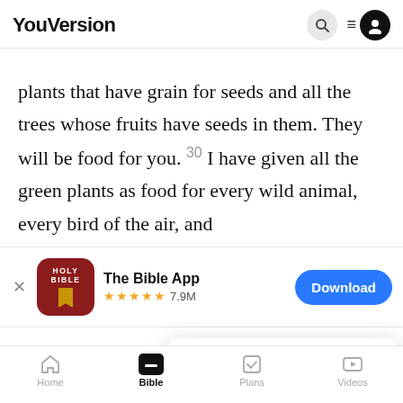YouVersion
plants that have grain for seeds and all the trees whose fruits have seeds in them. They will be food for you. 30 I have given all the green plants as food for every wild animal, every bird of the air, and
[Figure (screenshot): App store banner for The Bible App with Holy Bible icon, 5 star rating, 7.9M reviews, and Download button]
was ve... came.
YouVersion uses cookies to personalize your experience. By using our website, you accept our use of cookies as described in our Privacy Policy.
Home | Bible | Plans | Videos